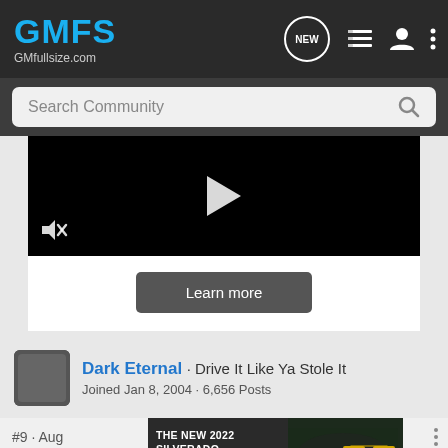[Figure (screenshot): GMFS GMfullsize.com website header with logo and navigation icons (NEW bubble, list icon, user icon, dots icon)]
[Figure (screenshot): Dark search bar with 'Search Community' placeholder text and magnifying glass icon]
[Figure (screenshot): Black video player area with play button and muted speaker icon, followed by Learn more button on white background]
Dark Eternal · Drive It Like Ya Stole It
Joined Jan 8, 2004 · 6,656 Posts
#9 · Aug
[Figure (screenshot): Chevrolet advertisement banner: THE NEW 2022 SILVERADO. with Explore button and Chevrolet logo]
pry bar,